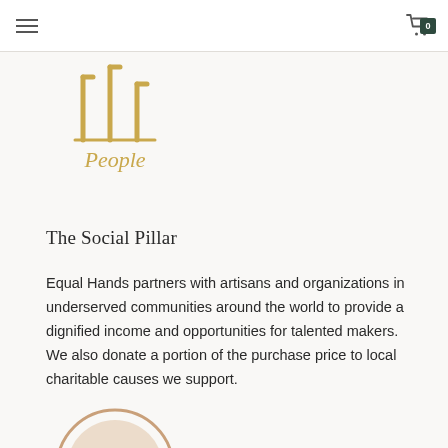Navigation header with hamburger menu and cart icon (0 items)
[Figure (logo): Three vertical pillar-like lines resembling tally marks, in gold/amber color, above the word 'People' in gold serif font — the logo for 'The People Pillar']
The Social Pillar
Equal Hands partners with artisans and organizations in underserved communities around the world to provide a dignified income and opportunities for talented makers. We also donate a portion of the purchase price to local charitable causes we support.
[Figure (illustration): Partial view of a circular illustration or logo at the bottom of the page, tan/brown color, partially cropped]